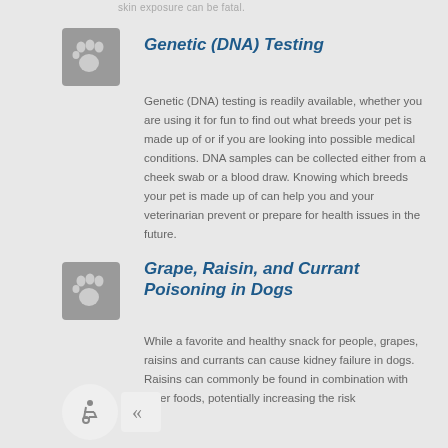skin exposure can be fatal.
Genetic (DNA) Testing
Genetic (DNA) testing is readily available, whether you are using it for fun to find out what breeds your pet is made up of or if you are looking into possible medical conditions. DNA samples can be collected either from a cheek swab or a blood draw. Knowing which breeds your pet is made up of can help you and your veterinarian prevent or prepare for health issues in the future.
Grape, Raisin, and Currant Poisoning in Dogs
While a favorite and healthy snack for people, grapes, raisins and currants can cause kidney failure in dogs. Raisins can commonly be found in combination with other foods, potentially increasing the risk